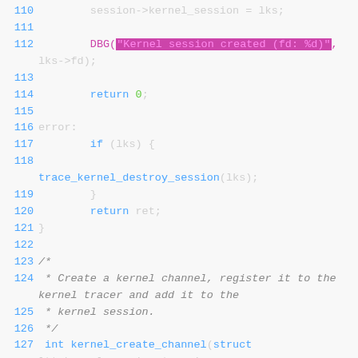Code listing lines 110-130, C source code showing kernel session and channel creation functions
[Figure (screenshot): Source code listing with line numbers 110-130 showing C code for kernel session and channel creation including DBG macro call, error label, lks cleanup, and kernel_create_channel function signature]